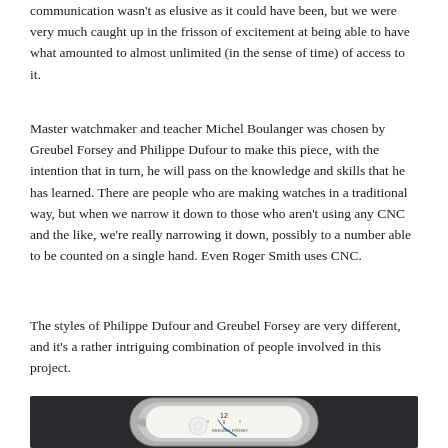communication wasn't as elusive as it could have been, but we were very much caught up in the frisson of excitement at being able to have what amounted to almost unlimited (in the sense of time) of access to it.
Master watchmaker and teacher Michel Boulanger was chosen by Greubel Forsey and Philippe Dufour to make this piece, with the intention that in turn, he will pass on the knowledge and skills that he has learned. There are people who are making watches in a traditional way, but when we narrow it down to those who aren't using any CNC and the like, we're really narrowing it down, possibly to a number able to be counted on a single hand. Even Roger Smith uses CNC.
The styles of Philippe Dufour and Greubel Forsey are very different, and it's a rather intriguing combination of people involved in this project.
[Figure (photo): Close-up photograph of a luxury watch movement/dial showing intricate mechanical details, gears, and the Greubel Forsey branding, photographed against a dark fabric background.]